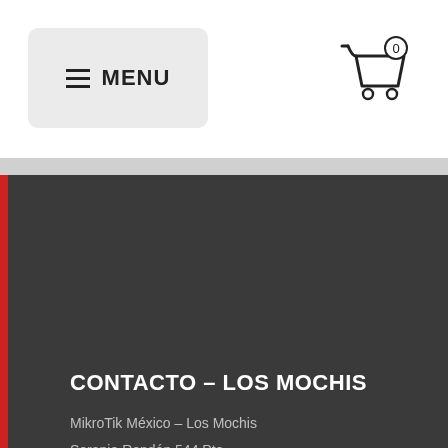MENU
CONTACTO – LOS MOCHIS
MikroTik México – Los Mochis
Serapio Rendón 544 Pte.
C.p. 81200
Colonia Centro
Los Mochis
Sinaloa, México
☎ 66 8816 4610
☎ 66 8121 0496